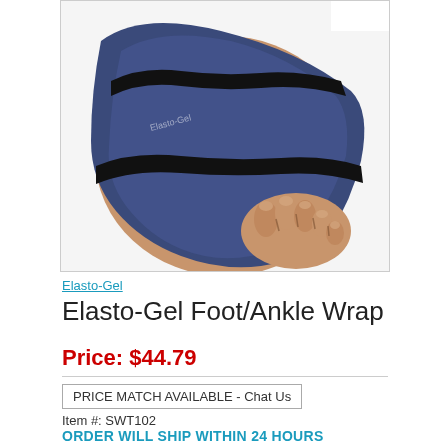[Figure (photo): Photo of Elasto-Gel Foot/Ankle Wrap shown on a person's foot and ankle, with navy blue gel wrap and black velcro straps]
Elasto-Gel
Elasto-Gel Foot/Ankle Wrap
Price: $44.79
PRICE MATCH AVAILABLE - Chat Us
Item #: SWT102
ORDER WILL SHIP WITHIN 24 HOURS